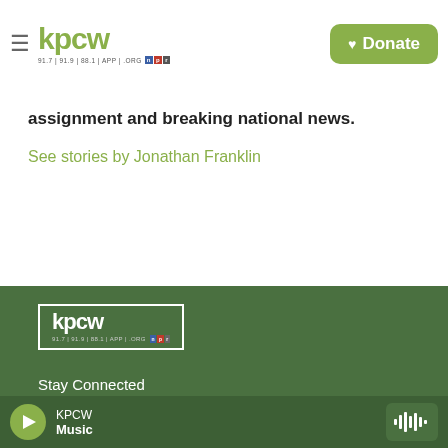KPCW — 91.7 | 91.9 | 88.1 | APP | .ORG | NPR | Donate
assignment and breaking national news.
See stories by Jonathan Franklin
[Figure (logo): KPCW radio station logo with footer branding]
Stay Connected
[Figure (infographic): Three social media icon circles: Twitter, Instagram, Facebook]
© 2022 KPCW
KPCW Music